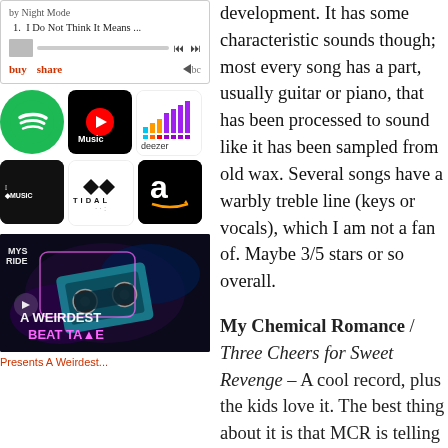[Figure (screenshot): Bandcamp embedded music player showing 'by Night Mode' with track '1. I Do Not Think It Means...' and buy/share links]
[Figure (infographic): Streaming service logos: Spotify, YouTube Music, Deezer, Apple Music, Tidal, Amazon Music]
[Figure (screenshot): Video thumbnail for 'A Weirdest Beat Tape' showing a cassette tape with neon graphics, play button overlay]
Presents A Weirdest...
development. It has some characteristic sounds though; most every song has a part, usually guitar or piano, that has been processed to sound like it has been sampled from old wax. Several songs have a warbly treble line (keys or vocals), which I am not a fan of. Maybe 3/5 stars or so overall.
My Chemical Romance / Three Cheers for Sweet Revenge – A cool record, plus the kids love it. The best thing about it is that MCR is telling a story;